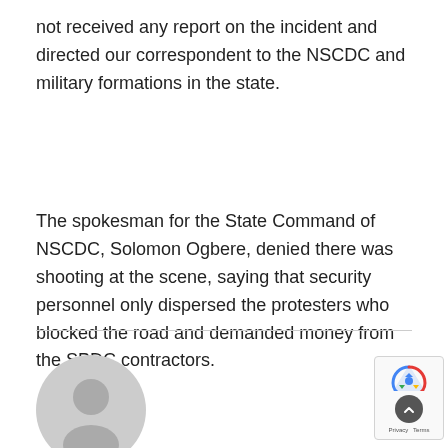not received any report on the incident and directed our correspondent to the NSCDC and military formations in the state.
The spokesman for the State Command of NSCDC, Solomon Ogbere, denied there was shooting at the scene, saying that security personnel only dispersed the protesters who blocked the road and demanded money from the SPDC contractors.
[Figure (illustration): Grey circular avatar/profile placeholder icon showing a silhouetted person]
[Figure (logo): reCAPTCHA badge with logo, scroll-up button, Privacy and Terms links]